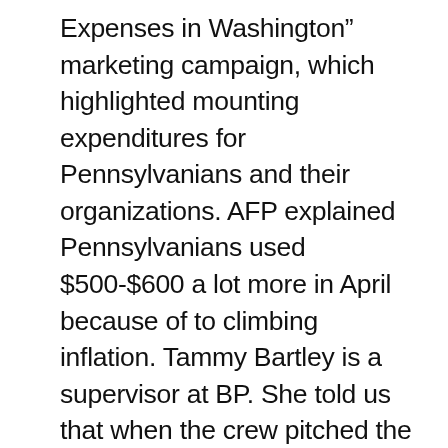Expenses in Washington” marketing campaign, which highlighted mounting expenditures for Pennsylvanians and their organizations. AFP explained Pennsylvanians used $500-$600 a lot more in April because of to climbing inflation. Tammy Bartley is a supervisor at BP. She told us that when the crew pitched the plan to her, it was straightforward to say of course. You will find a task now,” Bartley said. “We just imagined it was time to do a thing. “We shouldn’t be creating those choices,” said Mary Cirucci, director of the AFP coalition. The American Prosperity Society established the selling price of gasoline at $2.38 a gallon for the to start with 150 autos at the gas station setting up at 11 a.m. — —Only 87 octane, no RV, no fuel tank. This went on for two hours.